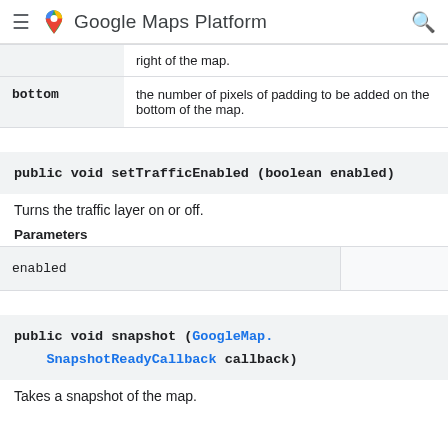Google Maps Platform
|  |  |
| --- | --- |
| right of the map. |  |
| bottom | the number of pixels of padding to be added on the bottom of the map. |
public void setTrafficEnabled (boolean enabled)
Turns the traffic layer on or off.
Parameters
| enabled |  |
| --- | --- |
| enabled |  |
public void snapshot (GoogleMap.SnapshotReadyCallback callback)
Takes a snapshot of the map.